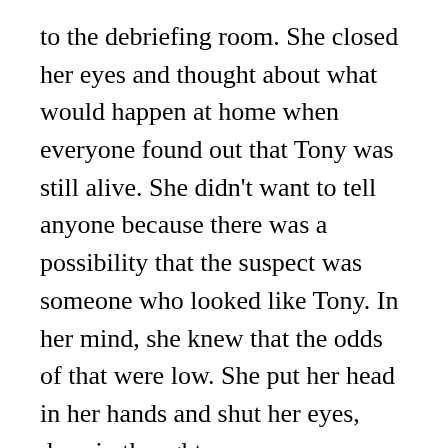to the debriefing room. She closed her eyes and thought about what would happen at home when everyone found out that Tony was still alive. She didn't want to tell anyone because there was a possibility that the suspect was someone who looked like Tony. In her mind, she knew that the odds of that were low. She put her head in her hands and shut her eyes, deep in thought.
Inside the debriefing room, Inspector Murugan asked Isaac about Tony's story.
“There isn't one sir. He died of a heart attack in his sleep. Natural death, no foul play.”Isaac